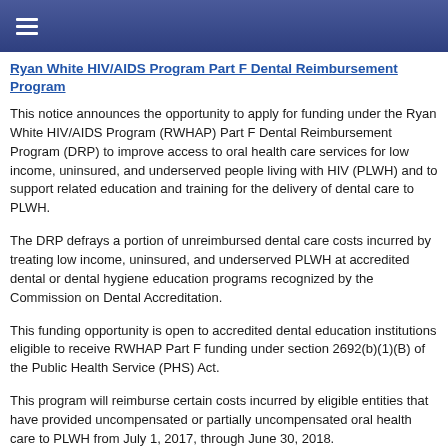≡ [navigation menu icon]
Ryan White HIV/AIDS Program Part F Dental Reimbursement Program
This notice announces the opportunity to apply for funding under the Ryan White HIV/AIDS Program (RWHAP) Part F Dental Reimbursement Program (DRP) to improve access to oral health care services for low income, uninsured, and underserved people living with HIV (PLWH) and to support related education and training for the delivery of dental care to PLWH.
The DRP defrays a portion of unreimbursed dental care costs incurred by treating low income, uninsured, and underserved PLWH at accredited dental or dental hygiene education programs recognized by the Commission on Dental Accreditation.
This funding opportunity is open to accredited dental education institutions eligible to receive RWHAP Part F funding under section 2692(b)(1)(B) of the Public Health Service (PHS) Act.
This program will reimburse certain costs incurred by eligible entities that have provided uncompensated or partially uncompensated oral health care to PLWH from July 1, 2017, through June 30, 2018.